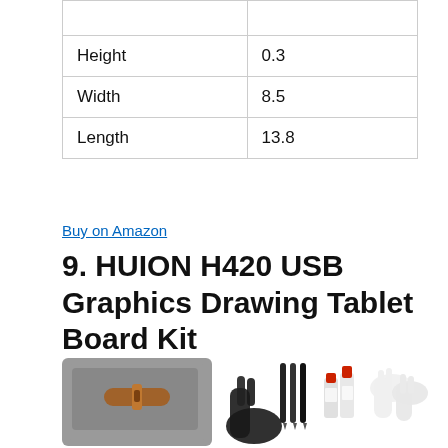|  |  |
| Height | 0.3 |
| Width | 8.5 |
| Length | 13.8 |
Buy on Amazon
9. HUION H420 USB Graphics Drawing Tablet Board Kit
[Figure (photo): Product photo of HUION H420 USB Graphics Drawing Tablet Board Kit showing a felt carrying case, drawing glove, stylus pens, cleaning supplies and white gloves]